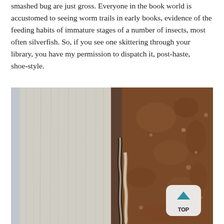smashed bug are just gross. Everyone in the book world is accustomed to seeing worm trails in early books, evidence of the feeding habits of immature stages of a number of insects, most often silverfish. So, if you see one skittering through your library, you have my permission to dispatch it, post-haste, shoe-style.
[Figure (photo): Close-up photograph of an old book showing the spine and pages, with a visible worm trail or damage channel running through the pages between the aged paper and worn leather/brown cover.]